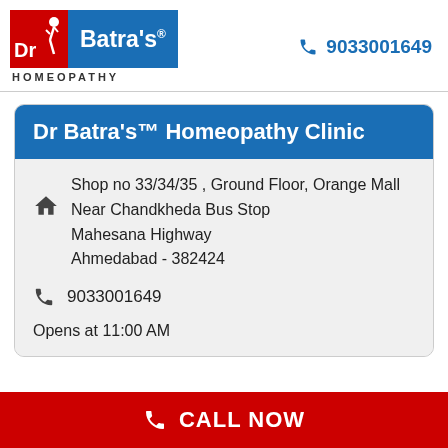[Figure (logo): Dr Batra's Homeopathy logo with red and blue box design]
9033001649
Dr Batra's™ Homeopathy Clinic
Shop no 33/34/35 , Ground Floor, Orange Mall
Near Chandkheda Bus Stop
Mahesana Highway
Ahmedabad - 382424
9033001649
Opens at 11:00 AM
CALL NOW